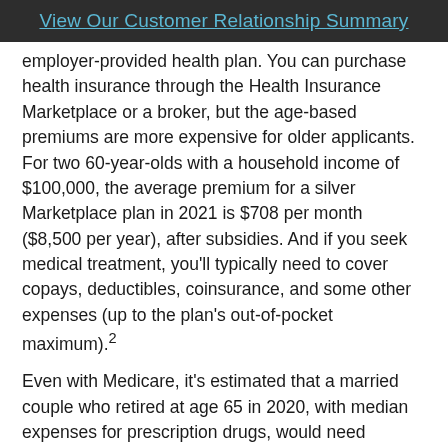View Our Customer Relationship Summary
employer-provided health plan. You can purchase health insurance through the Health Insurance Marketplace or a broker, but the age-based premiums are more expensive for older applicants. For two 60-year-olds with a household income of $100,000, the average premium for a silver Marketplace plan in 2021 is $708 per month ($8,500 per year), after subsidies. And if you seek medical treatment, you’ll typically need to cover copays, deductibles, coinsurance, and some other expenses (up to the plan’s out-of-pocket maximum).²
Even with Medicare, it’s estimated that a married couple who retired at age 65 in 2020, with median expenses for prescription drugs, would need $270,000 to have a 90% chance of paying their health-care costs throughout retirement.³
The bottom line is that some people might be giving up more than they realize when they retire early. Before you say goodbye to the working world, be sure you have the